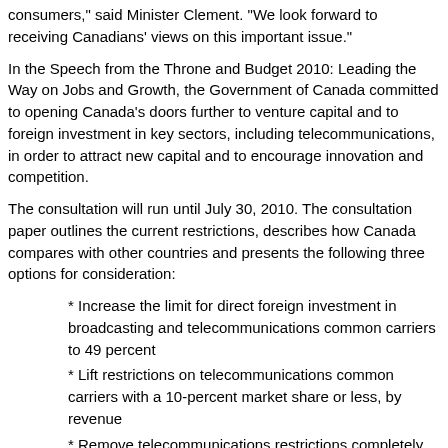consumers," said Minister Clement. "We look forward to receiving Canadians' views on this important issue."
In the Speech from the Throne and Budget 2010: Leading the Way on Jobs and Growth, the Government of Canada committed to opening Canada's doors further to venture capital and to foreign investment in key sectors, including telecommunications, in order to attract new capital and to encourage innovation and competition.
The consultation will run until July 30, 2010. The consultation paper outlines the current restrictions, describes how Canada compares with other countries and presents the following three options for consideration:
* Increase the limit for direct foreign investment in broadcasting and telecommunications common carriers to 49 percent
* Lift restrictions on telecommunications common carriers with a 10-percent market share or less, by revenue
* Remove telecommunications restrictions completely
Reviewing restrictions on foreign investment is consistent with the government's approach to rely more on market forces and less on regulation in the telecommunications industry. Telecommunications is a critical part of the digital economy — a key government priority.
[Figure (logo): cityMax logo in black and blue text]
Congratulations to CityMax.com, who has been named Company of the Year by Small Business BC's Successful You